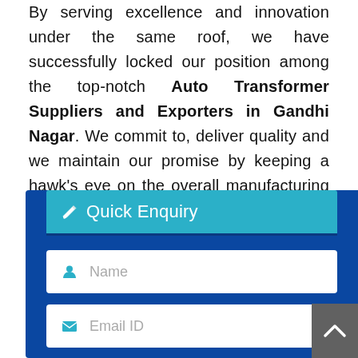By serving excellence and innovation under the same roof, we have successfully locked our position among the top-notch Auto Transformer Suppliers and Exporters in Gandhi Nagar. We commit to, deliver quality and we maintain our promise by keeping a hawk's eye on the overall manufacturing and quality testing process. Don't make much delay and drop us your enquiry today.
[Figure (screenshot): Quick Enquiry form widget with dark blue background, cyan header bar with pencil icon and 'Quick Enquiry' title, and three input fields: Name, Email ID, Contact No. A grey scroll-to-top button is visible at the bottom right.]